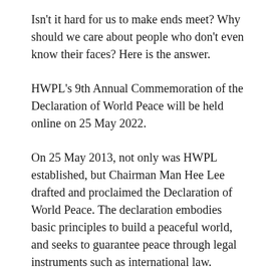Isn't it hard for us to make ends meet? Why should we care about people who don't even know their faces? Here is the answer.
HWPL's 9th Annual Commemoration of the Declaration of World Peace will be held online on 25 May 2022.
On 25 May 2013, not only was HWPL established, but Chairman Man Hee Lee drafted and proclaimed the Declaration of World Peace. The declaration embodies basic principles to build a peaceful world, and seeks to guarantee peace through legal instruments such as international law.